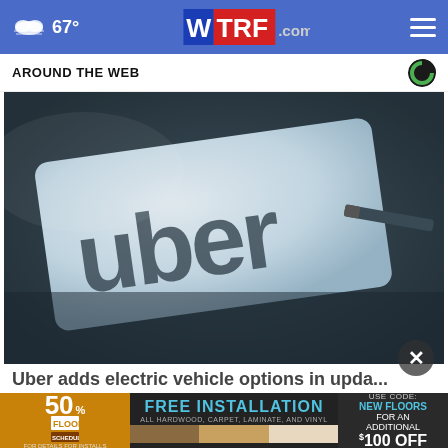67° WTRF.com
AROUND THE WEB
[Figure (photo): Close-up photo of a white card with the Uber logo printed on it, resting on a dark surface with a pen nearby]
Uber adds electric vehicle options in upda...
[Figure (photo): Advertisement banner for flooring - 50% off, Free Installation, Use Code: NEW FLOORS for an additional $100 OFF]